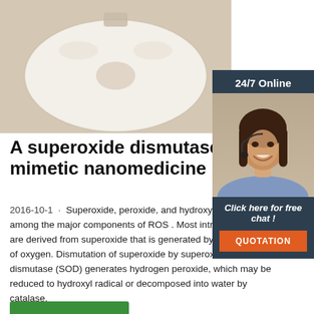[Figure (photo): White facial sheet mask lying on a wooden surface, with cutouts for eyes and nose visible]
[Figure (photo): 24/7 Online chat sidebar with a woman wearing a headset smiling, a 'Click here for free chat!' call to action and an orange QUOTATION button]
A superoxide dismutase/cat mimetic nanomedicine …
2016-10-1 · Superoxide, peroxide, and hydroxyl are among the major components of ROS . Most intracellular ROS are derived from superoxide that is generated by the reduction of oxygen. Dismutation of superoxide by superoxide dismutase (SOD) generates hydrogen peroxide, which may be reduced to hydroxyl radical or decomposed into water by catalase.